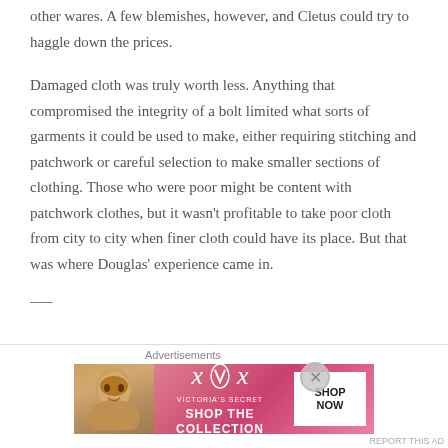other wares. A few blemishes, however, and Cletus could try to haggle down the prices.
Damaged cloth was truly worth less. Anything that compromised the integrity of a bolt limited what sorts of garments it could be used to make, either requiring stitching and patchwork or careful selection to make smaller sections of clothing. Those who were poor might be content with patchwork clothes, but it wasn't profitable to take poor cloth from city to city when finer cloth could have its place. But that was where Douglas' experience came in.
—–
A whole bolt of linen was laid out on the floor and across the
Advertisements
[Figure (infographic): Victoria's Secret advertisement banner with model photo on left, VS logo and SHOP THE COLLECTION text in center on pink/red gradient background, white SHOP NOW button on right]